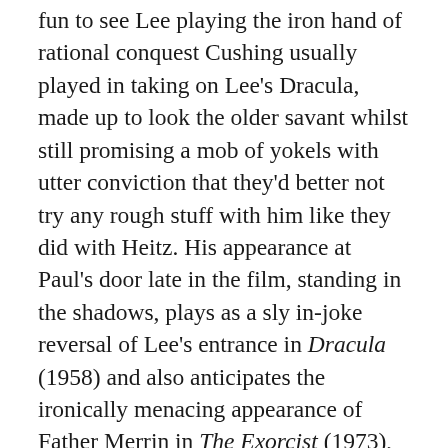fun to see Lee playing the iron hand of rational conquest Cushing usually played in taking on Lee's Dracula, made up to look the older savant whilst still promising a mob of yokels with utter conviction that they'd better not try any rough stuff with him like they did with Heitz. His appearance at Paul's door late in the film, standing in the shadows, plays as a sly in-joke reversal of Lee's entrance in Dracula (1958) and also anticipates the ironically menacing appearance of Father Merrin in The Exorcist (1973), another late-arriving saviour in a narrative with more than one point of similarity. Pasco is an untraditional sort of young hero, reflecting Hammer's taste for real